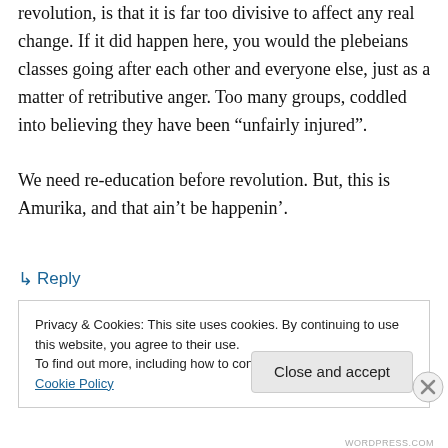revolution, is that it is far too divisive to affect any real change. If it did happen here, you would the plebeians classes going after each other and everyone else, just as a matter of retributive anger. Too many groups, coddled into believing they have been “unfairly injured”.
We need re-education before revolution. But, this is Amurika, and that ain’t be happenin’.
↳ Reply
Privacy & Cookies: This site uses cookies. By continuing to use this website, you agree to their use.
To find out more, including how to control cookies, see here: Cookie Policy
Close and accept